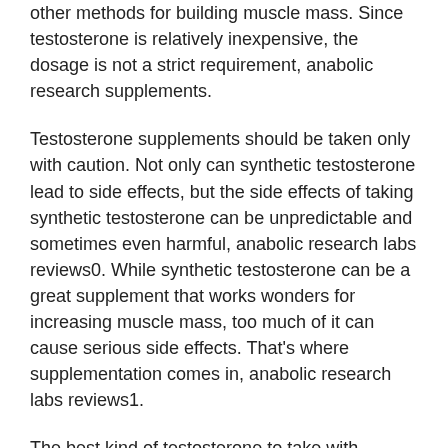other methods for building muscle mass. Since testosterone is relatively inexpensive, the dosage is not a strict requirement, anabolic research supplements.
Testosterone supplements should be taken only with caution. Not only can synthetic testosterone lead to side effects, but the side effects of taking synthetic testosterone can be unpredictable and sometimes even harmful, anabolic research labs reviews0. While synthetic testosterone can be a great supplement that works wonders for increasing muscle mass, too much of it can cause serious side effects. That's where supplementation comes in, anabolic research labs reviews1.
The best kind of testosterone to take with caution is what's referred to as synthetic testosterone, which is the most widely used